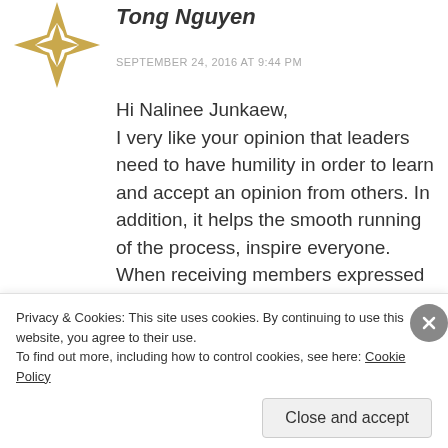[Figure (logo): Gold star/compass rose avatar icon]
Tong Nguyen
SEPTEMBER 24, 2016 AT 9:44 PM
Hi Nalinee Junkaew,
I very like your opinion that leaders need to have humility in order to learn and accept an opinion from others. In addition, it helps the smooth running of the process, inspire everyone. When receiving members expressed self-aware behavior, opinion, openness to feedback and ideas, appreciation of others, that is leadership
Privacy & Cookies: This site uses cookies. By continuing to use this website, you agree to their use.
To find out more, including how to control cookies, see here: Cookie Policy
Close and accept